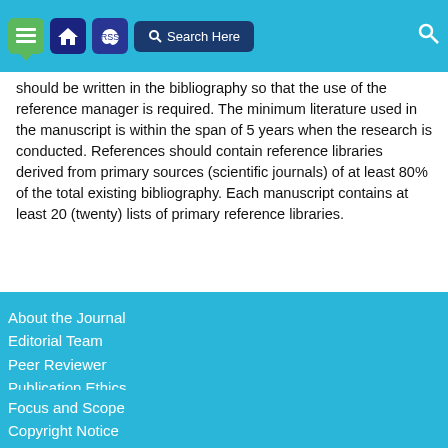Navigation bar with menu, home, RSS, search icons
should be written in the bibliography so that the use of the reference manager is required. The minimum literature used in the manuscript is within the span of 5 years when the research is conducted. References should contain reference libraries derived from primary sources (scientific journals) of at least 80% of the total existing bibliography. Each manuscript contains at least 20 (twenty) lists of primary reference libraries.
About the Journal
Editorial Team
Peer Reviewer
Publication Ethics
Author Guidelines
Focus and Scope
Copyright Notice